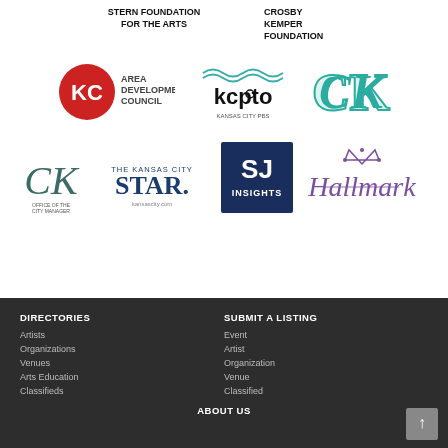[Figure (logo): Stern Foundation For The Arts text logo]
[Figure (logo): Crosby Kemper Foundation text logo]
[Figure (logo): KC Area Development Council logo with red circle KC mark]
[Figure (logo): kcpto Kansas City PBS logo in teal/black]
[Figure (logo): CK monogram logo in teal]
[Figure (logo): KC Office of the City Manager logo]
[Figure (logo): The Kansas City Star logo]
[Figure (logo): SJ Insights logo, navy blue square]
[Figure (logo): Hallmark logo in purple cursive]
DIRECTORIES
Artists
Organizations
Venues
Arts Education
Classifieds
SUBMIT A LISTING
Event
Artist
Organization
Venue
Classified
ABOUT US